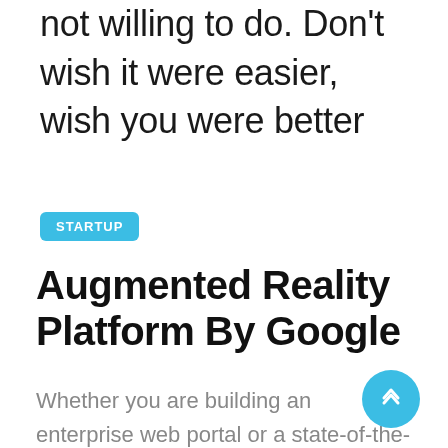not willing to do. Don't wish it were easier, wish you were better
STARTUP
Augmented Reality Platform By Google
Whether you are building an enterprise web portal or a state-of-the-art website, you always need the right modern tools. Well-built and maintained PHP frameworks provide those tools in abundance...